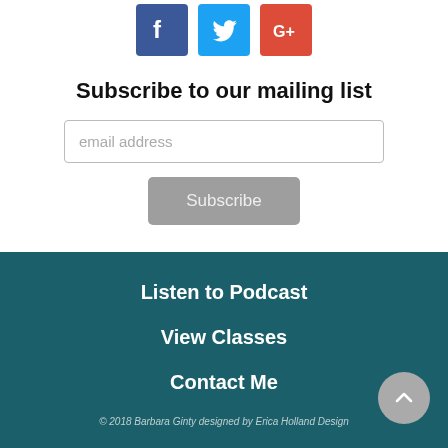[Figure (logo): Social media icons: Facebook (blue), Twitter (light blue), Google+ (red)]
Subscribe to our mailing list
email address
Subscribe
Listen to Podcast
View Classes
Contact Me
© 2018  Barbara Ginty designed by Erica Holland Design